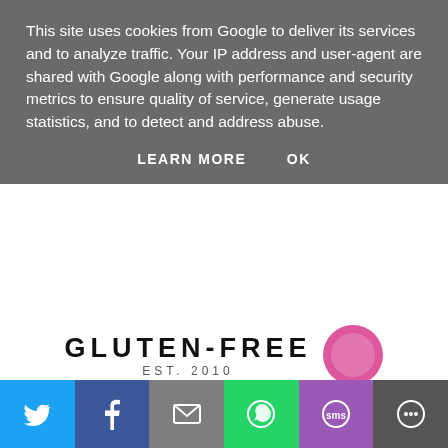This site uses cookies from Google to deliver its services and to analyze traffic. Your IP address and user-agent are shared with Google along with performance and security metrics to ensure quality of service, generate usage statistics, and to detect and address abuse.
LEARN MORE   OK
[Figure (logo): Gluten-Free blog logo with text GLUTEN-FREE EST. 2010 and a circular pink/magenta badge]
MONDAY, JULY 14, 2014
CROCKPOT MUSHROOM ARTICHOKE CHICKEN
While we round off our holiday in Malta, a few of my
[Figure (infographic): Social share bar with Twitter (blue), Facebook (blue), Email (grey), WhatsApp (green), SMS (purple), More (dark grey) buttons at the bottom of the page]